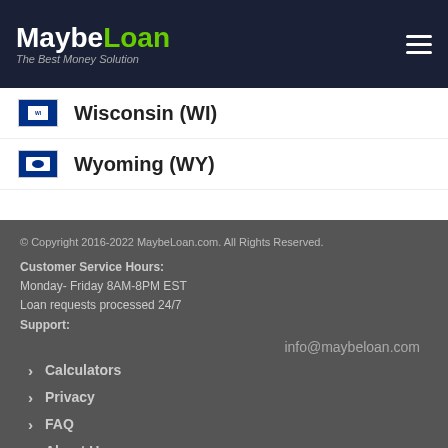MaybeLoan - The Best Money Solution
Wisconsin (WY)
Wyoming (WY)
© Copyright 2016-2022 MaybeLoan.com. All Rights Reserved.
Customer Service Hours:
Monday- Friday 8AM-8PM EST
Loan requests processed 24/7
Support:
info@maybeloan.com
Calculators
Privacy
FAQ
About Us
Contact Us